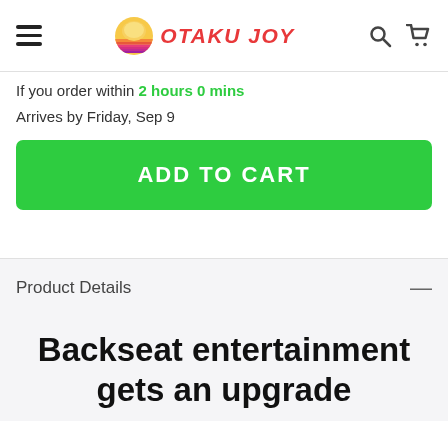OTAKU JOY
If you order within 2 hours 0 mins
Arrives by Friday, Sep 9
ADD TO CART
Product Details
Backseat entertainment gets an upgrade